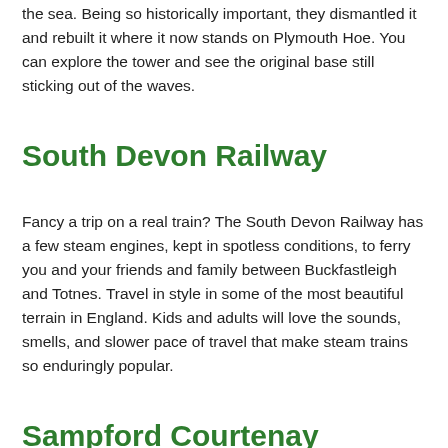the sea. Being so historically important, they dismantled it and rebuilt it where it now stands on Plymouth Hoe. You can explore the tower and see the original base still sticking out of the waves.
South Devon Railway
Fancy a trip on a real train? The South Devon Railway has a few steam engines, kept in spotless conditions, to ferry you and your friends and family between Buckfastleigh and Totnes. Travel in style in some of the most beautiful terrain in England. Kids and adults will love the sounds, smells, and slower pace of travel that make steam trains so enduringly popular.
Sampford Courtenay
The final standing ground of the rebels in the Prayer Book Rebellion, Sampford Courtenay is ancient, quiet, and very beautiful. Protesting against the Book of Common Prayer, an